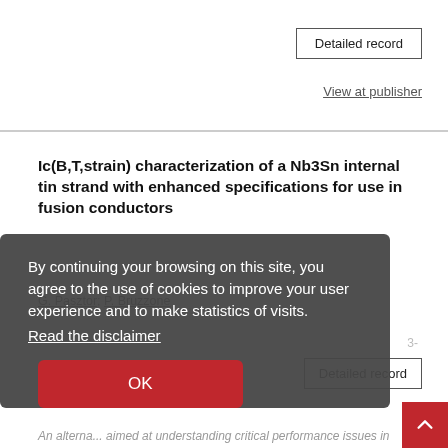Detailed record
View at publisher
Ic(B,T,strain) characterization of a Nb3Sn internal tin strand with enhanced specifications for use in fusion conductors
G. Pasztor; P. Bruzzone
Detailed record
By continuing your browsing on this site, you agree to the use of cookies to improve your user experience and to make statistics of visits.
Read the disclaimer
OK
An alternative ... aimed at understanding critical performance issues in
Nb3Sn conductors for ITER